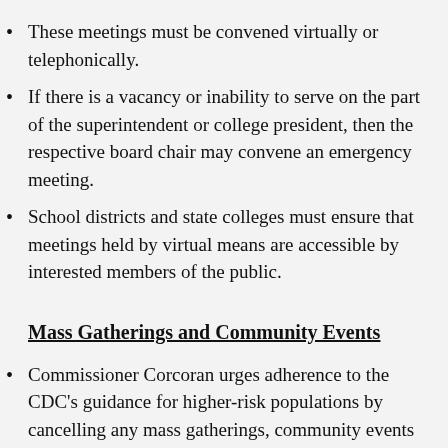These meetings must be convened virtually or telephonically.
If there is a vacancy or inability to serve on the part of the superintendent or college president, then the respective board chair may convene an emergency meeting.
School districts and state colleges must ensure that meetings held by virtual means are accessible by interested members of the public.
Mass Gatherings and Community Events
Commissioner Corcoran urges adherence to the CDC’s guidance for higher-risk populations by cancelling any mass gatherings, community events and extracurricular activities, including sports of more than 10 people in a single occupied space at any educational program, school readiness, voluntary prekindergarten, public and